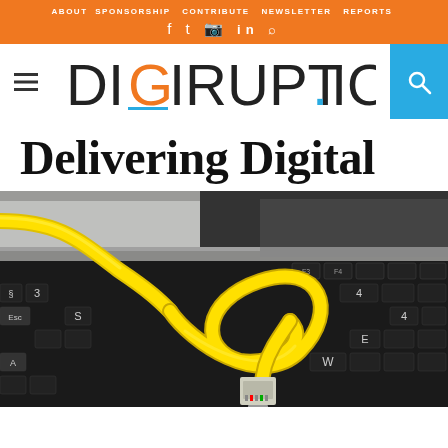ABOUT  SPONSORSHIP  CONTRIBUTE  NEWSLETTER  REPORTS  f  twitter  instagram  in  rss
[Figure (logo): DIGIRUPT.IO logo with hamburger menu icon on left and search icon on right, on white background with orange top bar]
Delivering Digital
[Figure (photo): Close-up photograph of a yellow Ethernet/RJ45 network cable coiled on a laptop keyboard]